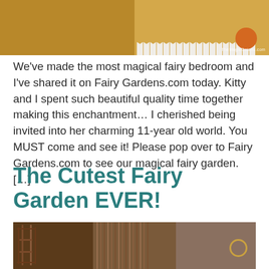[Figure (photo): Top photo showing a fairy bedroom scene with wooden elements, a white picket fence, and an orange-tinted object. Watermark reads 'TheMagicOnions.com']
We've made the most magical fairy bedroom and I've shared it on Fairy Gardens.com today. Kitty and I spent such beautiful quality time together making this enchantment… I cherished being invited into her charming 11-year old world. You MUST come and see it! Please pop over to Fairy Gardens.com to see our magical fairy garden. […]
The Cutest Fairy Garden EVER!
[Figure (photo): Bottom photo showing a close-up of fairy garden elements made from twigs and natural materials, including stick furniture and a rope circle, set against a stone/bark background.]